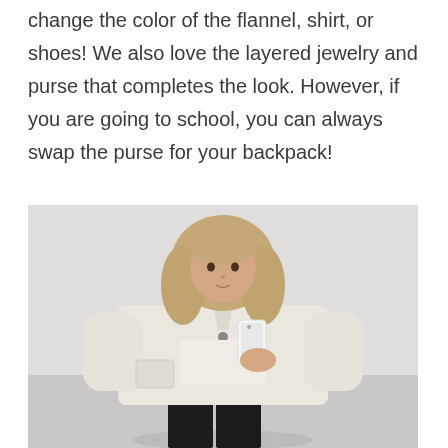change the color of the flannel, shirt, or shoes! We also love the layered jewelry and purse that completes the look. However, if you are going to school, you can always swap the purse for your backpack!
[Figure (photo): A young woman taking a mirror selfie wearing a cream/beige oversized flannel jacket over a knit sweater with black leather pants. She has long blonde hair and is holding a white iPhone.]